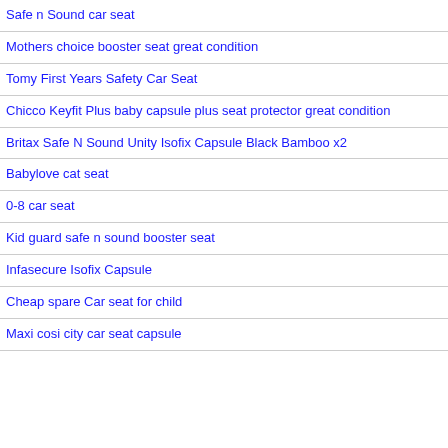Safe n Sound car seat
Mothers choice booster seat great condition
Tomy First Years Safety Car Seat
Chicco Keyfit Plus baby capsule plus seat protector great condition
Britax Safe N Sound Unity Isofix Capsule Black Bamboo x2
Babylove cat seat
0-8 car seat
Kid guard safe n sound booster seat
Infasecure Isofix Capsule
Cheap spare Car seat for child
Maxi cosi city car seat capsule